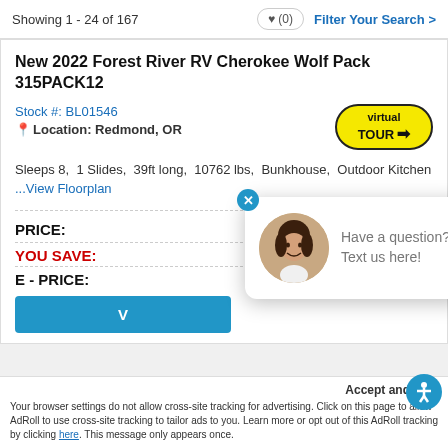Showing 1 - 24 of 167
New 2022 Forest River RV Cherokee Wolf Pack 315PACK12
Stock #: BL01546
Location: Redmond, OR
[Figure (other): Virtual Tour badge - yellow oval badge with text 'virtual TOUR' and arrow]
Sleeps 8,  1 Slides,  39ft long,  10762 lbs,  Bunkhouse,  Outdoor Kitchen
...View Floorplan
PRICE:  $104,881
YOU SAVE:
E - PRICE:
[Figure (other): Chat popup with woman avatar photo and text: Have a question? Text us here!]
Accept and
Your browser settings do not allow cross-site tracking for advertising. Click on this page to allow AdRoll to use cross-site tracking to tailor ads to you. Learn more or opt out of this AdRoll tracking by clicking here. This message only appears once.